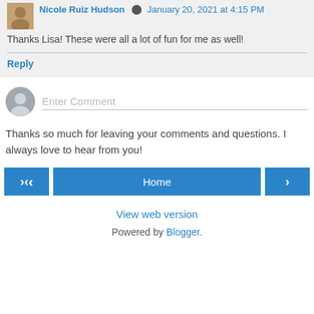Nicole Ruiz Hudson · January 20, 2021 at 4:15 PM
Thanks Lisa! These were all a lot of fun for me as well!
Reply
Enter Comment
Thanks so much for leaving your comments and questions. I always love to hear from you!
Home
View web version
Powered by Blogger.